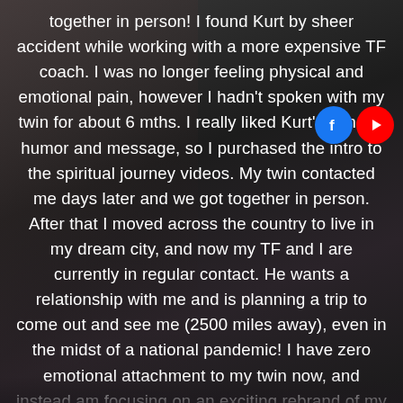together in person! I found Kurt by sheer accident while working with a more expensive TF coach. I was no longer feeling physical and emotional pain, however I hadn't spoken with my twin for about 6 mths. I really liked Kurt's candor, humor and message, so I purchased the intro to the spiritual journey videos. My twin contacted me days later and we got together in person. After that I moved across the country to live in my dream city, and now my TF and I are currently in regular contact. He wants a relationship with me and is planning a trip to come out and see me (2500 miles away), even in the midst of a national pandemic! I have zero emotional attachment to my twin now, and instead am focusing on an exciting rebrand of my
[Figure (illustration): Semi-transparent background figure of a woman with long hair, sitting, overlaid with a dark vignette. Facebook and YouTube social media icons appear in the upper right area.]